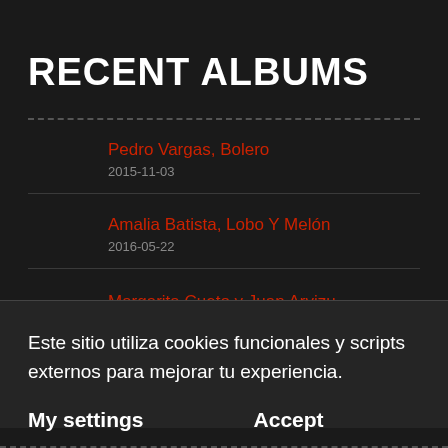RECENT ALBUMS
Pedro Vargas, Bolero
2015-11-03
Amalia Batista, Lobo Y Melón
2016-05-22
Margarita Cueto y Juan Arvizu
2015-11-03
Este sitio utiliza cookies funcionales y scripts externos para mejorar tu experiencia.
My settings    Accept